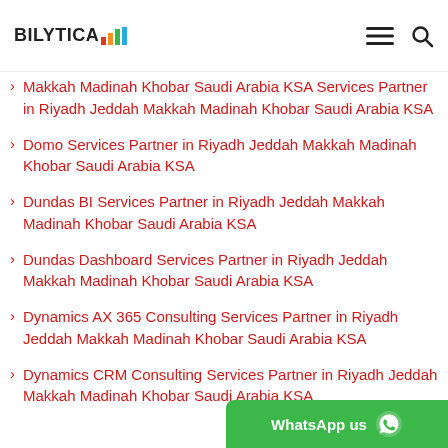BILYTICA logo with navigation icons
Makkah Madinah Khobar Saudi Arabia KSA Services Partner in Riyadh Jeddah Makkah Madinah Khobar Saudi Arabia KSA
Domo Services Partner in Riyadh Jeddah Makkah Madinah Khobar Saudi Arabia KSA
Dundas BI Services Partner in Riyadh Jeddah Makkah Madinah Khobar Saudi Arabia KSA
Dundas Dashboard Services Partner in Riyadh Jeddah Makkah Madinah Khobar Saudi Arabia KSA
Dynamics AX 365 Consulting Services Partner in Riyadh Jeddah Makkah Madinah Khobar Saudi Arabia KSA
Dynamics CRM Consulting Services Partner in Riyadh Jeddah Makkah Madinah Khobar Saudi Arabia KSA